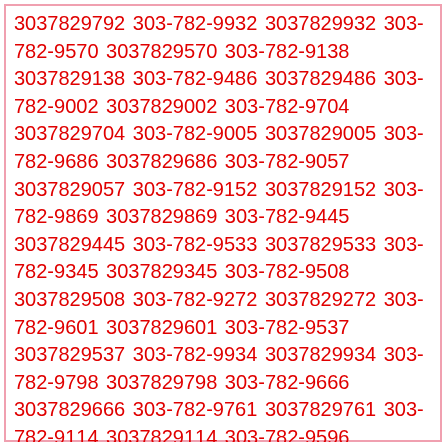3037829792 303-782-9932 3037829932 303-782-9570 3037829570 303-782-9138 3037829138 303-782-9486 3037829486 303-782-9002 3037829002 303-782-9704 3037829704 303-782-9005 3037829005 303-782-9686 3037829686 303-782-9057 3037829057 303-782-9152 3037829152 303-782-9869 3037829869 303-782-9445 3037829445 303-782-9533 3037829533 303-782-9345 3037829345 303-782-9508 3037829508 303-782-9272 3037829272 303-782-9601 3037829601 303-782-9537 3037829537 303-782-9934 3037829934 303-782-9798 3037829798 303-782-9666 3037829666 303-782-9761 3037829761 303-782-9114 3037829114 303-782-9596 3037829596 303-782-9307 3037829307 303-782-9471 3037829471 303-782-9206 3037829206 303-782-9961 3037829961 303-782-9424 3037829424 303-782-9276 3037829276 303-782-9243 3037829243 303-782-9351 3037829351 303-782-9188 3037829188 303-782-9461 3037829461 303-